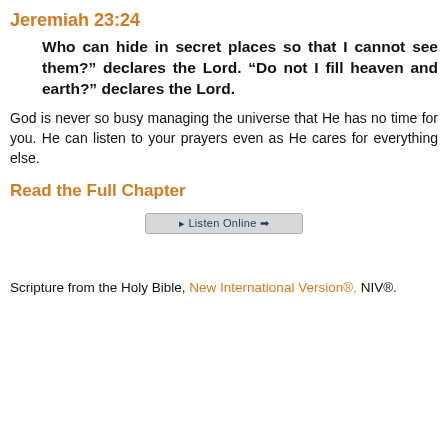Jeremiah 23:24
Who can hide in secret places so that I cannot see them?” declares the Lord. “Do not I fill heaven and earth?” declares the Lord.
God is never so busy managing the universe that He has no time for you. He can listen to your prayers even as He cares for everything else.
Read the Full Chapter
[Figure (other): A button labeled 'Listen Online' with an arrow, styled with a light gray background and dark blue text.]
Scripture from the Holy Bible, New International Version®, NIV®.